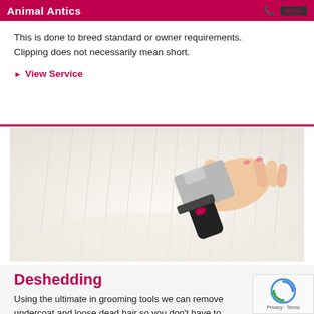Animal Antics
This is done to breed standard or owner requirements. Clipping does not necessarily mean short.
▶ View Service
[Figure (photo): A person's hand using a grooming brush on a white fluffy dog]
Deshedding
Using the ultimate in grooming tools we can remove undercoat and loose dead hair so you don't have to.